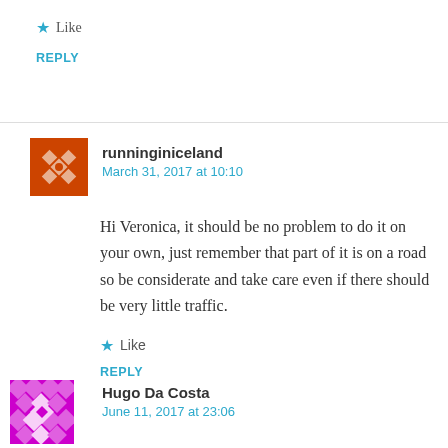★ Like
REPLY
runninginiceland
March 31, 2017 at 10:10
Hi Veronica, it should be no problem to do it on your own, just remember that part of it is on a road so be considerate and take care even if there should be very little traffic.
★ Like
REPLY
Hugo Da Costa
June 11, 2017 at 23:06